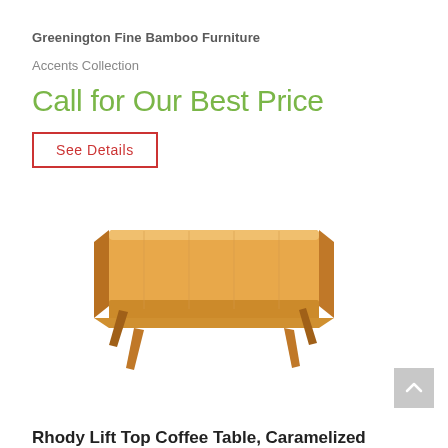Greenington Fine Bamboo Furniture
Accents Collection
Call for Our Best Price
See Details
[Figure (photo): A caramelized bamboo coffee table with lift top and angled legs, shown on a white background. The table has a warm honey-orange color typical of caramelized bamboo. It features a rectangular lift-top surface and four angled wooden legs.]
Rhody Lift Top Coffee Table, Caramelized